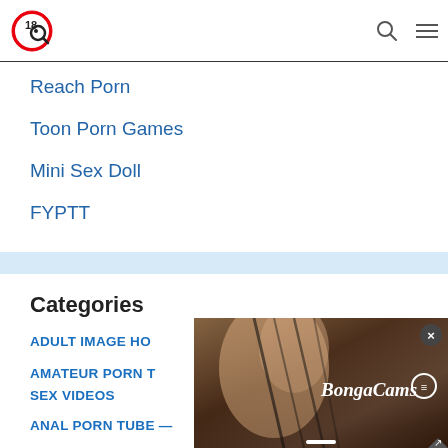18Click logo, search icon, menu icon
Reach Porn
Toon Porn Games
Mini Sex Doll
FYPTT
Categories
ADULT IMAGE HO…
AMATEUR PORN T… SEX VIDEOS
ANAL PORN TUBE —
[Figure (photo): BongaCams advertisement overlay showing a person in dark clothing with BongaCams logo/text in white, with an X close button and expand arrow]